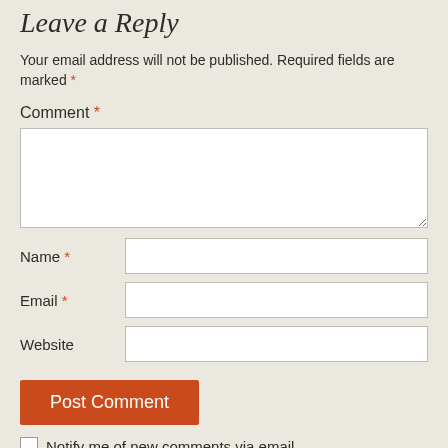Leave a Reply
Your email address will not be published. Required fields are marked *
Comment *
Name *
Email *
Website
Post Comment
Notify me of new comments via email.